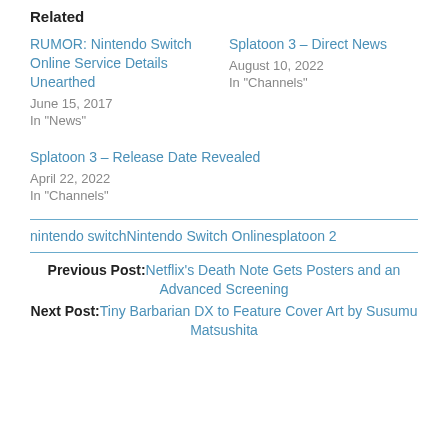Related
RUMOR: Nintendo Switch Online Service Details Unearthed
June 15, 2017
In "News"
Splatoon 3 – Direct News
August 10, 2022
In "Channels"
Splatoon 3 – Release Date Revealed
April 22, 2022
In "Channels"
nintendo switchNintendo Switch Onlinesplatoon 2
Previous Post: Netflix's Death Note Gets Posters and an Advanced Screening
Next Post: Tiny Barbarian DX to Feature Cover Art by Susumu Matsushita